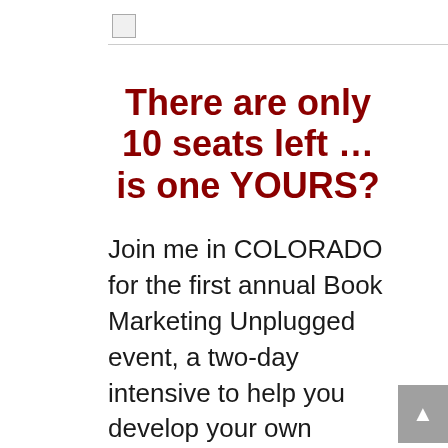[Figure (other): Broken image placeholder icon in page header area]
There are only 10 seats left … is one YOURS?
Join me in COLORADO for the first annual Book Marketing Unplugged event, a two-day intensive to help you develop your own unique marketing game plan along with creating and absorbing a kick-butt, yes I can do it, execution strategy. Starting on the first day. It's a YES! I can do this info and fun-packed two-days. I'll feed your mind, your energy … and yep, your belly, too!